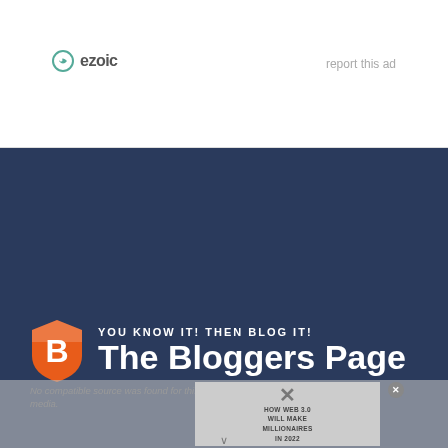[Figure (logo): Ezoic logo with circular icon and text 'ezoic']
report this ad
[Figure (logo): The Bloggers Page logo: orange shield with 'B', tagline 'YOU KNOW IT! THEN BLOG IT!', and large bold white text 'The Bloggers Page' on dark blue background]
TheBloggersPage is a free Blogging and SEO resource site for Beginners. The goal of this site is to provide genuine tips-tricks and other
[Figure (screenshot): Partially visible video thumbnail overlay showing 'HOW WEB 3.0 WILL MAKE MILLIONAIRES IN 2022' with X close button and greyed out overlay, 'No compatible source was found for this media' message]